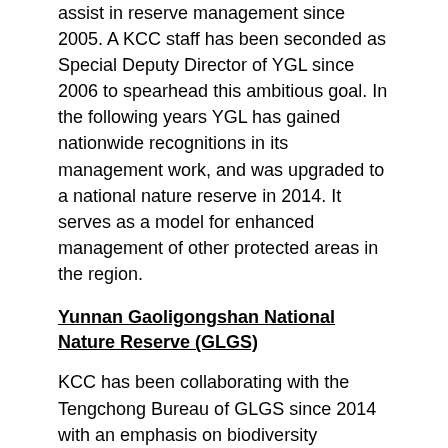assist in reserve management since 2005. A KCC staff has been seconded as Special Deputy Director of YGL since 2006 to spearhead this ambitious goal. In the following years YGL has gained nationwide recognitions in its management work, and was upgraded to a national nature reserve in 2014. It serves as a model for enhanced management of other protected areas in the region.
Yunnan Gaoligongshan National Nature Reserve (GLGS)
KCC has been collaborating with the Tengchong Bureau of GLGS since 2014 with an emphasis on biodiversity inventory and publicity activities. KCC discovered a number of new-to-science species during the survey, as well as many exciting findings, including the first record of Red Serow (Capricornis rubidus) for China and rediscovered the Marble Cat (Pardofelis marmorata) for Yunnan after 30 years.
Major Achievements and Awards
2000